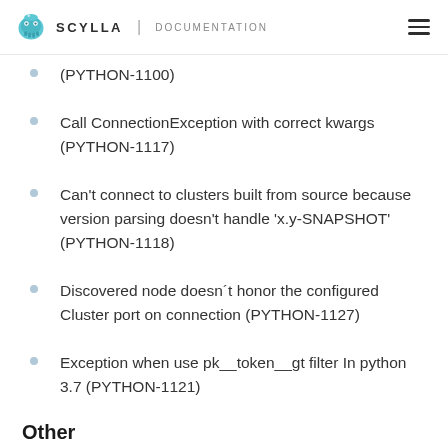SCYLLA | DOCUMENTATION
(PYTHON-1100)
Call ConnectionException with correct kwargs (PYTHON-1117)
Can't connect to clusters built from source because version parsing doesn't handle 'x.y-SNAPSHOT' (PYTHON-1118)
Discovered node doesn´t honor the configured Cluster port on connection (PYTHON-1127)
Exception when use pk__token__gt filter In python 3.7 (PYTHON-1121)
Other